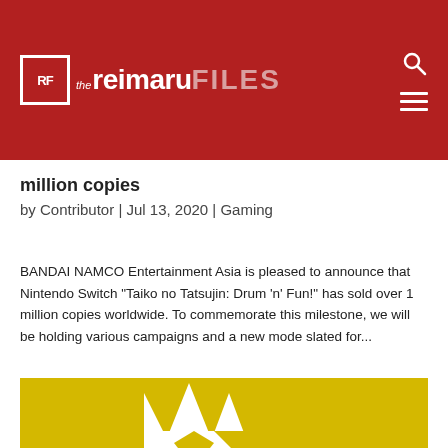The Reimaru Files
million copies
by Contributor | Jul 13, 2020 | Gaming
BANDAI NAMCO Entertainment Asia is pleased to announce that Nintendo Switch "Taiko no Tatsujin: Drum 'n' Fun!" has sold over 1 million copies worldwide. To commemorate this milestone, we will be holding various campaigns and a new mode slated for...
[Figure (logo): Yellow background with white stylized crown/shield logo and text 'VOL.1']